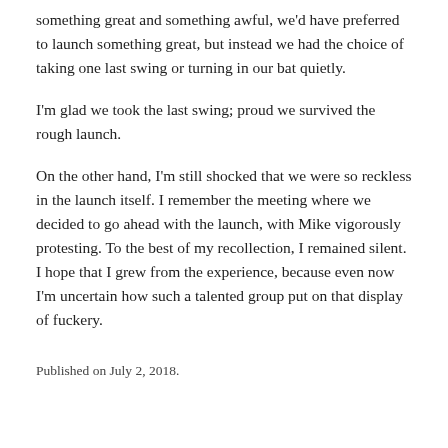something great and something awful, we'd have preferred to launch something great, but instead we had the choice of taking one last swing or turning in our bat quietly.
I'm glad we took the last swing; proud we survived the rough launch.
On the other hand, I'm still shocked that we were so reckless in the launch itself. I remember the meeting where we decided to go ahead with the launch, with Mike vigorously protesting. To the best of my recollection, I remained silent. I hope that I grew from the experience, because even now I'm uncertain how such a talented group put on that display of fuckery.
Published on July 2, 2018.